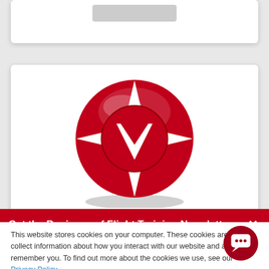[Figure (logo): Red circular compass/navigation logo with white star-like points and white downward-pointing triangle in center]
Get the Business of Flight Training Newsletter ×
This website stores cookies on your computer. These cookies are used to collect information about how you interact with our website and allow us to remember you. To find out more about the cookies we use, see our Privacy Policy.
Accept